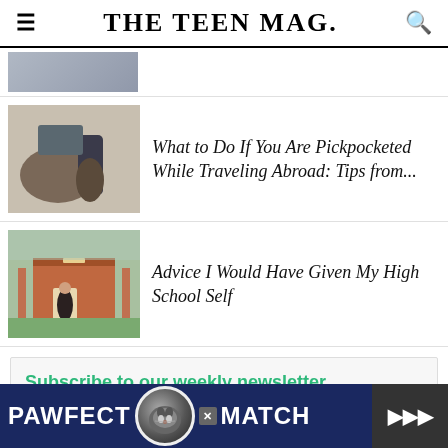THE TEEN MAG.
[Figure (photo): Partial view of a photo, cropped at top of page]
[Figure (photo): Person being pickpocketed - hand reaching into bag]
What to Do If You Are Pickpocketed While Traveling Abroad: Tips from...
[Figure (photo): Person standing in front of a brick university building]
Advice I Would Have Given My High School Self
Subscribe to our weekly newsletter
Get notified of the top trending articles every week!
[Figure (screenshot): PAWFECT MATCH advertisement banner at bottom of page with cat image]